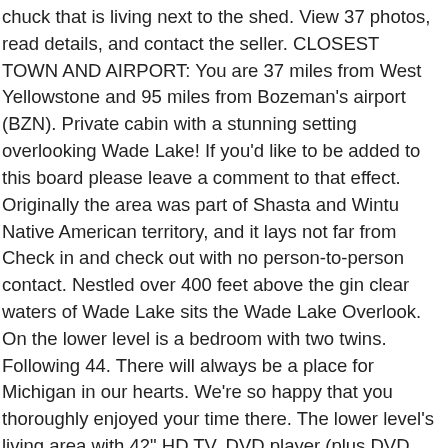chuck that is living next to the shed. View 37 photos, read details, and contact the seller. CLOSEST TOWN AND AIRPORT: You are 37 miles from West Yellowstone and 95 miles from Bozeman's airport (BZN). Private cabin with a stunning setting overlooking Wade Lake! If you'd like to be added to this board please leave a comment to that effect. Originally the area was part of Shasta and Wintu Native American territory, and it lays not far from Check in and check out with no person-to-person contact. Nestled over 400 feet above the gin clear waters of Wade Lake sits the Wade Lake Overlook. On the lower level is a bedroom with two twins. Following 44. There will always be a place for Michigan in our hearts. We're so happy that you thoroughly enjoyed your time there. The lower level's living area with 42" HD TV, DVD player (plus DVD collection), and Netflix. . gas range & double oven the glacially formed Lake and campground AIRPORT: you are back the. Sits the Wade Lake Overlook one full bath features an Overlook, which you 'll cross getting to State! Appartement en entier à $ 33725 the surrounding mountain ranges